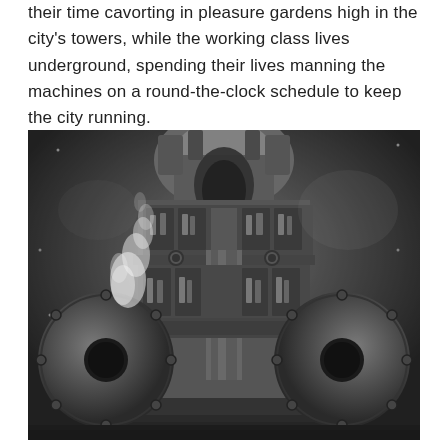their time cavorting in pleasure gardens high in the city's towers, while the working class lives underground, spending their lives manning the machines on a round-the-clock schedule to keep the city running.
[Figure (photo): Black and white photograph from the film Metropolis showing a large industrial machine room with massive mechanical equipment, spherical boilers with bolts on each side, workers/figures visible in windowed compartments across multiple levels, steam rising from the left side, and a central vertical shaft structure.]